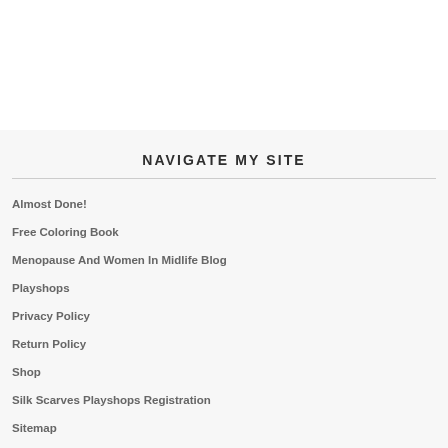NAVIGATE MY SITE
Almost Done!
Free Coloring Book
Menopause And Women In Midlife Blog
Playshops
Privacy Policy
Return Policy
Shop
Silk Scarves Playshops Registration
Sitemap